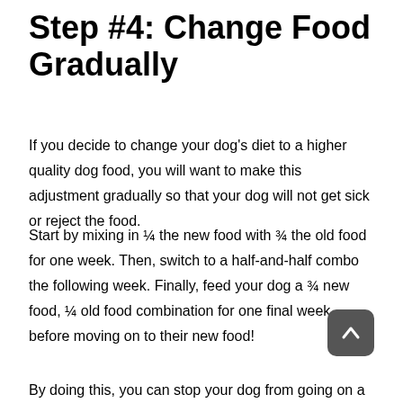Step #4: Change Food Gradually
If you decide to change your dog's diet to a higher quality dog food, you will want to make this adjustment gradually so that your dog will not get sick or reject the food.
Start by mixing in ¼ the new food with ¾ the old food for one week. Then, switch to a half-and-half combo the following week. Finally, feed your dog a ¾ new food, ¼ old food combination for one final week before moving on to their new food!
By doing this, you can stop your dog from going on a